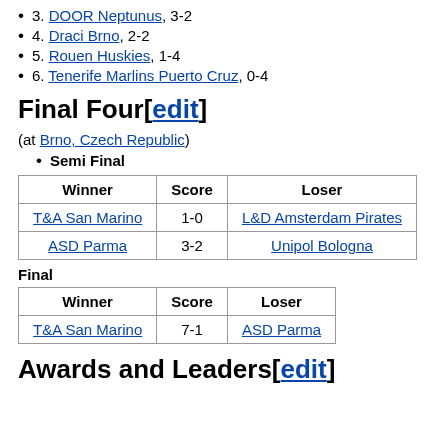3. DOOR Neptunus, 3-2
4. Draci Brno, 2-2
5. Rouen Huskies, 1-4
6. Tenerife Marlins Puerto Cruz, 0-4
Final Four[edit]
(at Brno, Czech Republic)
Semi Final
| Winner | Score | Loser |
| --- | --- | --- |
| T&A San Marino | 1-0 | L&D Amsterdam Pirates |
| ASD Parma | 3-2 | Unipol Bologna |
Final
| Winner | Score | Loser |
| --- | --- | --- |
| T&A San Marino | 7-1 | ASD Parma |
Awards and Leaders[edit]